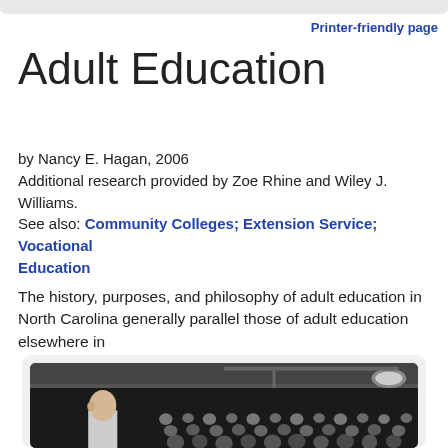Printer-friendly page
Adult Education
by Nancy E. Hagan, 2006
Additional research provided by Zoe Rhine and Wiley J. Williams.
See also: Community Colleges; Extension Service;  Vocational Education
The history, purposes, and philosophy of adult education in North Carolina generally parallel those of adult education elsewhere in
[Figure (photo): Black and white photograph of a man speaking to a large audience in a room, viewed from the side.]